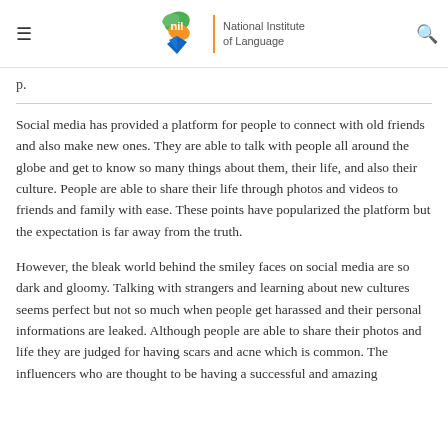NIL | National Institute of Language
Social media has provided a platform for people to connect with old friends and also make new ones. They are able to talk with people all around the globe and get to know so many things about them, their life, and also their culture. People are able to share their life through photos and videos to friends and family with ease. These points have popularized the platform but the expectation is far away from the truth.
However, the bleak world behind the smiley faces on social media are so dark and gloomy. Talking with strangers and learning about new cultures seems perfect but not so much when people get harassed and their personal informations are leaked. Although people are able to share their photos and life they are judged for having scars and acne which is common. The influencers who are thought to be having a successful and amazing